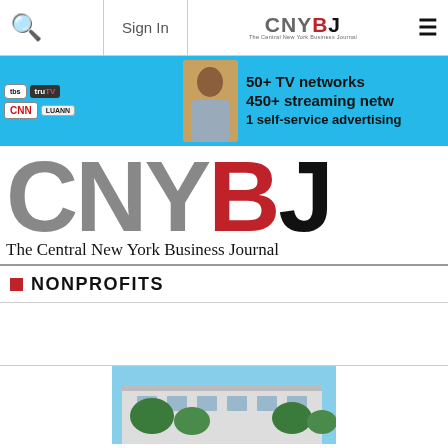Sign In | CNYBJ - The Central New York Business Journal
[Figure (illustration): Advertisement banner for a TV/streaming advertising network service showing TBS, truTV, CNN, and LuAnn logos with text: 50+ TV networks, 450+ streaming netw..., 1 self-service advertising]
[Figure (logo): CNYBJ - The Central New York Business Journal large logo with CNY in grey, B in red, J in black, tagline: The Central New York Business Journal]
NONPROFITS
[Figure (photo): Partial photo of a building exterior with trees visible at bottom of page]